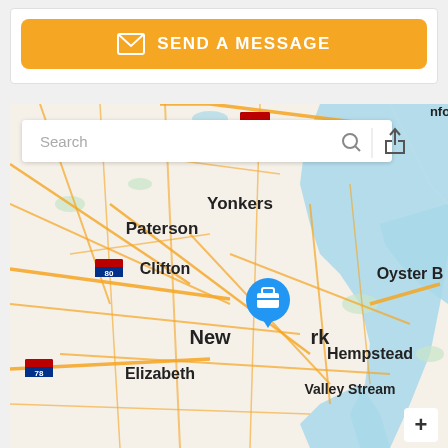[Figure (other): Orange 'SEND A MESSAGE' button with envelope icon on white card background]
[Figure (map): Google Maps style map showing New York City area including Paterson, Yonkers, Clifton, Elizabeth, Hempstead, Valley Stream, Oyster Bay areas. Has a search bar at top. Shows route 287, I-80, I-295, I-78 highway markers. A blue briefcase marker is placed on New York City. A zoom-in button (+) is in the bottom right corner.]